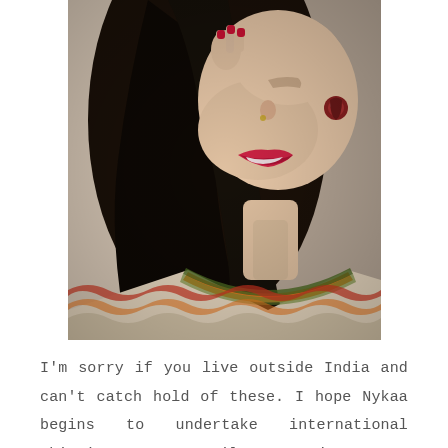[Figure (photo): Close-up photo of a smiling woman with long black hair, red nails, wearing a decorative earring and a traditional Indian kurti with orange, red, green and cream zigzag pattern neckline.]
I'm sorry if you live outside India and can't catch hold of these. I hope Nykaa begins to undertake international shipping soon! Until next time, wear nude